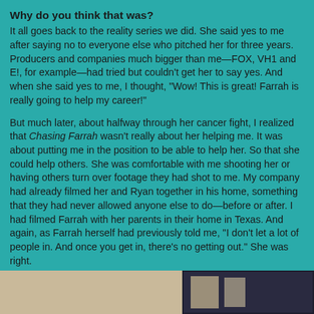Why do you think that was?
It all goes back to the reality series we did. She said yes to me after saying no to everyone else who pitched her for three years. Producers and companies much bigger than me—FOX, VH1 and E!, for example—had tried but couldn't get her to say yes. And when she said yes to me, I thought, "Wow! This is great! Farrah is really going to help my career!"
But much later, about halfway through her cancer fight, I realized that Chasing Farrah wasn't really about her helping me. It was about putting me in the position to be able to help her. So that she could help others. She was comfortable with me shooting her or having others turn over footage they had shot to me. My company had already filmed her and Ryan together in his home, something that they had never allowed anyone else to do—before or after. I had filmed Farrah with her parents in their home in Texas. And again, as Farrah herself had previously told me, "I don't let a lot of people in. And once you get in, there's no getting out." She was right.
[Figure (photo): A partial photo strip at the bottom of the page showing what appears to be a warm-toned background on the left and a darker image on the right]